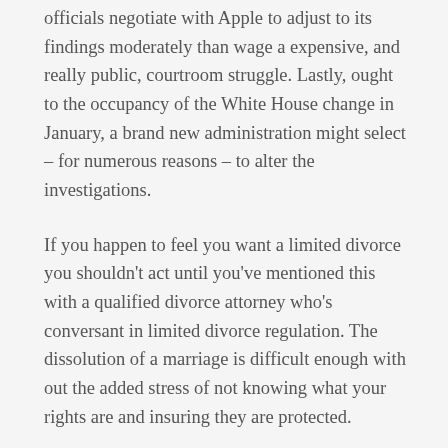officials negotiate with Apple to adjust to its findings moderately than wage a expensive, and really public, courtroom struggle. Lastly, ought to the occupancy of the White House change in January, a brand new administration might select – for numerous reasons – to alter the investigations.
If you happen to feel you want a limited divorce you shouldn't act until you've mentioned this with a qualified divorce attorney who's conversant in limited divorce regulation. The dissolution of a marriage is difficult enough with out the added stress of not knowing what your rights are and insuring they are protected.
Some litigators are additionally skilled trial lawyers and can current in front of judge and jury, however this is not a guarantee. Not all litigators do that. It's very